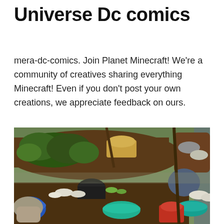Universe Dc comics
mera-dc-comics. Join Planet Minecraft! We're a community of creatives sharing everything Minecraft! Even if you don't post your own creations, we appreciate feedback on ours.
[Figure (photo): Aerial/overhead view of a floating market with boats carrying plants, food items, cooking pots, and colorful lids/containers. People are visible working in and around the boats on a river/canal.]